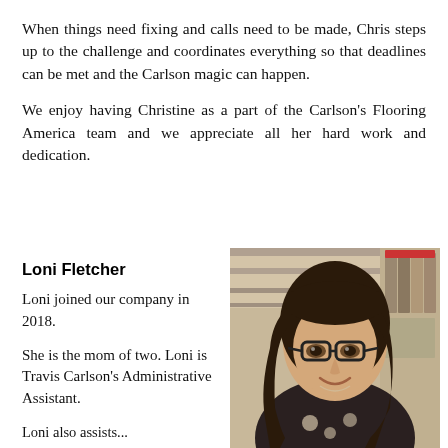When things need fixing and calls need to be made, Chris steps up to the challenge and coordinates everything so that deadlines can be met and the Carlson magic can happen.
We enjoy having Christine as a part of the Carlson's Flooring America team and we appreciate all her hard work and dedication.
Loni Fletcher
Loni joined our company in 2018.
She is the mom of two. Loni is Travis Carlson's Administrative Assistant.
[Figure (photo): Photo of Loni Fletcher, a woman with long dark hair and glasses, smiling, standing in what appears to be a flooring store with product samples visible in the background.]